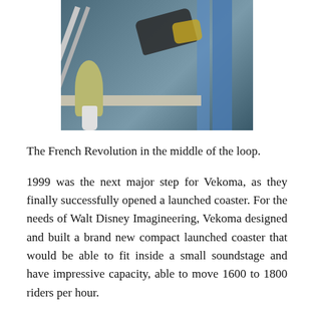[Figure (photo): Photo of the French Revolution roller coaster in the middle of a loop, showing coaster cars, blue steel supports, track rails, and a decorative plant/vase in the foreground.]
The French Revolution in the middle of the loop.
1999 was the next major step for Vekoma, as they finally successfully opened a launched coaster. For the needs of Walt Disney Imagineering, Vekoma designed and built a brand new compact launched coaster that would be able to fit inside a small soundstage and have impressive capacity, able to move 1600 to 1800 riders per hour.
The end result was the LSM Coaster. Opening in august 1999 at the Disney MGM Studios theme park at Walt